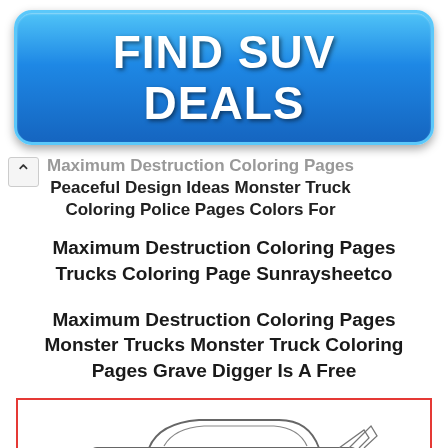[Figure (other): Blue gradient button with white bold text reading FIND SUV DEALS]
Maximum Destruction Coloring Pages Peaceful Design Ideas Monster Truck Coloring Police Pages Colors For
Maximum Destruction Coloring Pages Trucks Coloring Page Sunraysheetco
Maximum Destruction Coloring Pages Monster Trucks Monster Truck Coloring Pages Grave Digger Is A Free
[Figure (illustration): Line drawing of a monster truck (Batmobile-style) inside a red-bordered box]